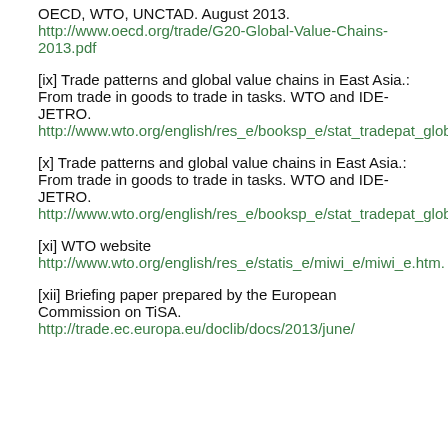OECD, WTO, UNCTAD. August 2013. http://www.oecd.org/trade/G20-Global-Value-Chains-2013.pdf
[ix] Trade patterns and global value chains in East Asia.: From trade in goods to trade in tasks. WTO and IDE-JETRO. http://www.wto.org/english/res_e/booksp_e/stat_tradepat_globvalchains_e.pdf
[x] Trade patterns and global value chains in East Asia.: From trade in goods to trade in tasks. WTO and IDE-JETRO. http://www.wto.org/english/res_e/booksp_e/stat_tradepat_globvalchains_e.pdf
[xi] WTO website http://www.wto.org/english/res_e/statis_e/miwi_e/miwi_e.htm.
[xii] Briefing paper prepared by the European Commission on TiSA. http://trade.ec.europa.eu/doclib/docs/2013/june/